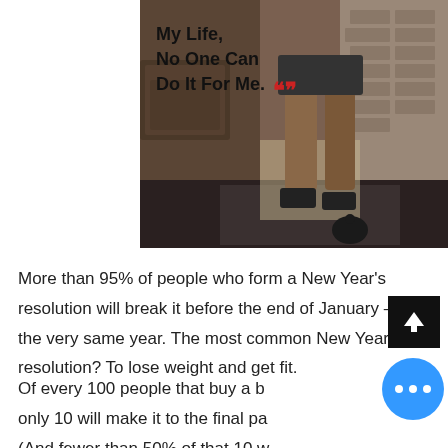[Figure (photo): Fitness/gym photo showing legs of a person in athletic wear, with a gym background (brick wall, kettlebell). Overlaid quote text: 'My Life, No One Can Do It For Me.' with red closing quotation marks.]
More than 95% of people who form a New Year's resolution will break it before the end of January – of the very same year. The most common New Year's resolution? To lose weight and get fit.
Of every 100 people that buy a book, only 10 will make it to the final page. (And fewer than 50% of that 10 w...